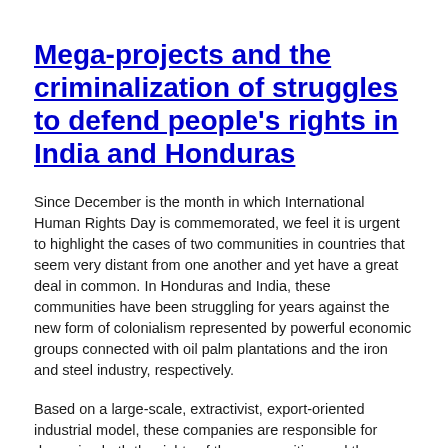Mega-projects and the criminalization of struggles to defend people's rights in India and Honduras
Since December is the month in which International Human Rights Day is commemorated, we feel it is urgent to highlight the cases of two communities in countries that seem very distant from one another and yet have a great deal in common. In Honduras and India, these communities have been struggling for years against the new form of colonialism represented by powerful economic groups connected with oil palm plantations and the iron and steel industry, respectively.
Based on a large-scale, extractivist, export-oriented industrial model, these companies are responsible for damaging both the rights of the communities and the environment.